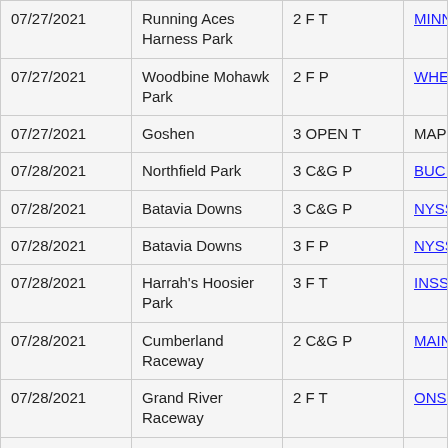| Date | Location | Category | Race/Event |
| --- | --- | --- | --- |
| 07/27/2021 | Running Aces Harness Park | 2 F T | MINNESOTA BRED S… Leg |
| 07/27/2021 | Woodbine Mohawk Park | 2 F P | WHENUWISHUPON… 1st Leg |
| 07/27/2021 | Goshen | 3 OPEN T | MAPLE CITY TROT D… |
| 07/28/2021 | Northfield Park | 3 C&G P | BUCKEYE STALLION SERIES 3rd Leg |
| 07/28/2021 | Batavia Downs | 3 C&G P | NYSS 3rd Leg |
| 07/28/2021 | Batavia Downs | 3 F P | NYSS 4th Leg |
| 07/28/2021 | Harrah's Hoosier Park | 3 F T | INSS 4th Leg |
| 07/28/2021 | Cumberland Raceway | 2 C&G P | MAINE BREEDERS S… 2nd Leg |
| 07/28/2021 | Grand River Raceway | 2 F T | ONSS GOLD 2nd Leg… |
| 07/29/2021 | Harrah's Hoosier Park | 3 C&G T | INSS 4th Leg |